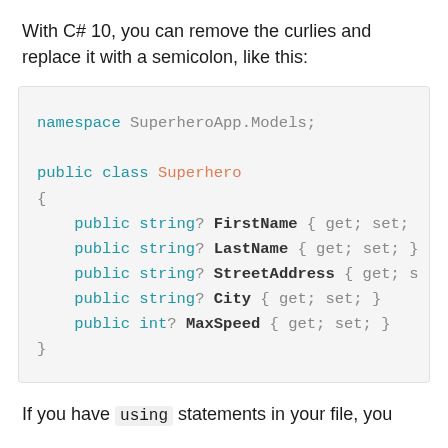With C# 10, you can remove the curlies and replace it with a semicolon, like this:
[Figure (screenshot): C# code block showing a namespace declaration using file-scoped namespace syntax (SuperheroApp.Models) and a public class Superhero with properties: FirstName, LastName, StreetAddress, City, MaxSpeed]
If you have using statements in your file, you